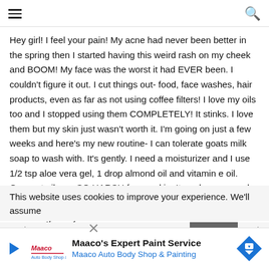[hamburger menu] [search icon]
Hey girl! I feel your pain! My acne had never been better in the spring then I started having this weird rash on my cheek and BOOM! My face was the worst it had EVER been. I couldn't figure it out. I cut things out- food, face washes, hair products, even as far as not using coffee filters! I love my oils too and I stopped using them COMPLETELY! It stinks. I love them but my skin just wasn't worth it. I'm going on just a few weeks and here's my new routine- I can tolerate goats milk soap to wash with. It's gently. I need a moisturizer and I use 1/2 tsp aloe vera gel, 1 drop almond oil and vitamin e oil. Coconut oil was SO HARSH for my skin. It made me so red and blotchy. I'd steer clear. ALSO try manuka honey! Honey is so healing. But you have to make sure it's raw
This website uses cookies to improve your experience. We'll assume
you're [partially visible] cept
[Figure (other): Maaco advertisement banner: Maaco's Expert Paint Service - Maaco Auto Body Shop & Painting, with Maaco logo and blue diamond road sign icon]